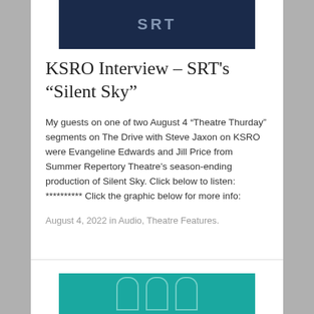[Figure (photo): Cropped top portion of a dark navy blue image with partial text visible, likely a theatre production poster for 'Silent Sky']
KSRO Interview – SRT's “Silent Sky”
My guests on one of two August 4 “Theatre Thurday” segments on The Drive with Steve Jaxon on KSRO were Evangeline Edwards and Jill Price from Summer Repertory Theatre’s season-ending production of Silent Sky. Click below to listen: ********** Click the graphic below for more info:
August 4, 2022 in Audio, Theatre Features.
[Figure (photo): Two men standing in front of a teal/turquoise background with decorative star and geometric shapes; bottom portion cropped]